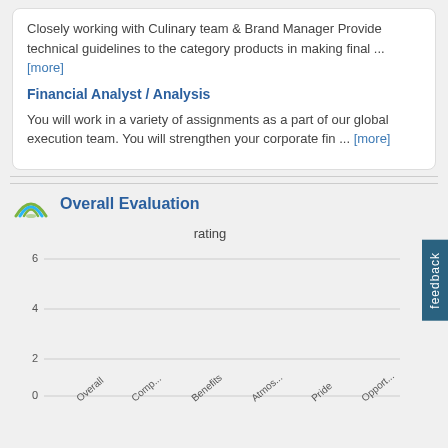Closely working with Culinary team & Brand Manager Provide technical guidelines to the category products in making final ... [more]
Financial Analyst / Analysis
You will work in a variety of assignments as a part of our global execution team. You will strengthen your corporate fin ... [more]
Overall Evaluation
[Figure (bar-chart): Bar chart showing rating categories with y-axis from 0 to 6, categories on x-axis rotated at angle. No bars visible in cropped view.]